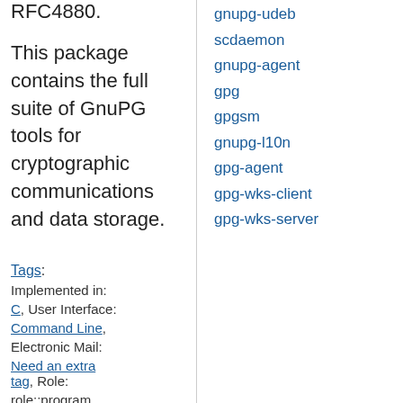RFC4880.
This package contains the full suite of GnuPG tools for cryptographic communications and data storage.
gnupg-udeb
scdaemon
gnupg-agent
gpg
gpgsm
gnupg-l10n
gpg-agent
gpg-wks-client
gpg-wks-server
Tags: Implemented in: C, User Interface: Command Line, Electronic Mail: Need an extra tag, Role: role::program, role::shared-lib,